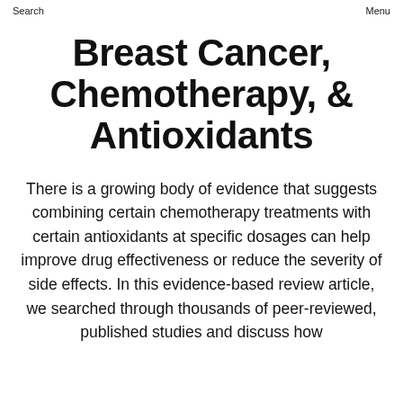Search   Menu
Breast Cancer, Chemotherapy, & Antioxidants
There is a growing body of evidence that suggests combining certain chemotherapy treatments with certain antioxidants at specific dosages can help improve drug effectiveness or reduce the severity of side effects. In this evidence-based review article, we searched through thousands of peer-reviewed, published studies and discuss how